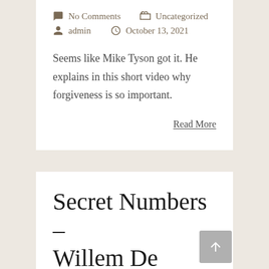No Comments    Uncategorized
admin    October 13, 2021
Seems like Mike Tyson got it. He explains in this short video why forgiveness is so important.
Read More
Secret Numbers – Willem De Swart